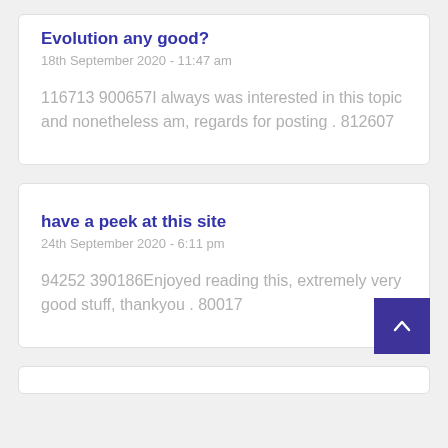Evolution any good?
18th September 2020 - 11:47 am
116713 900657I always was interested in this topic and nonetheless am, regards for posting . 812607
have a peek at this site
24th September 2020 - 6:11 pm
94252 390186Enjoyed reading this, extremely very good stuff, thankyou . 80017